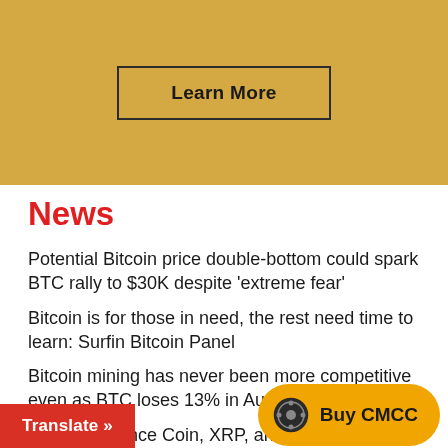[Figure (other): Gold/tan banner background with a 'Learn More' button outlined in black]
News
Potential Bitcoin price double-bottom could spark BTC rally to $30K despite 'extreme fear'
Bitcoin is for those in need, the rest need time to learn: Surfin Bitcoin Panel
Bitcoin mining has never been more competitive even as BTC loses 13% in August
Bitcoin, Binance Coin, XRP, and Solana Daily Price Analyses – 30 August Morning Price Prediction
Bitcoin could become a zero-emissio…
[Figure (other): Red 'Translate »' button at bottom left]
[Figure (other): Gold 'Buy CMCC' button with coin icon at bottom right]